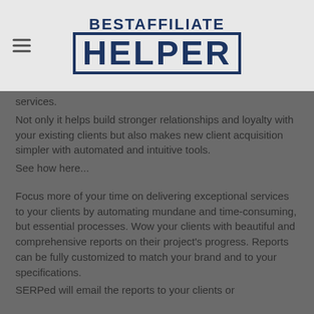BESTAFFILIATE HELPER
services.
Not only it helps build stronger relationships and loyalty with your existing clients but also makes new client acquisition simpler with automated and intuitive tools.
See how here...
Focus more of your time on delivering exceptional services to your clients by automating mundane and time-consuming, but essential processes. Wow your clients with beautiful and comprehensive reports on their project's progress. Reports can be fully customized to match your brand and to your specifications.
SERPed will email the reports to your clients or